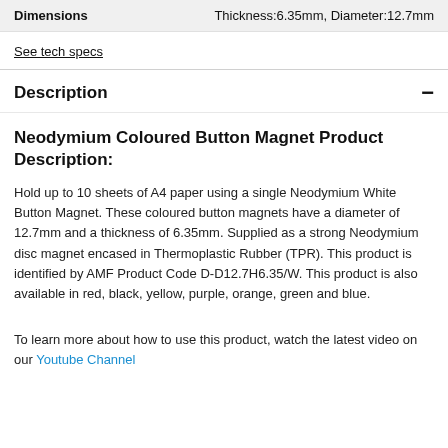| Dimensions |  |
| --- | --- |
| Dimensions | Thickness:6.35mm, Diameter:12.7mm |
See tech specs
Description
Neodymium Coloured Button Magnet Product Description:
Hold up to 10 sheets of A4 paper using a single Neodymium White Button Magnet. These coloured button magnets have a diameter of 12.7mm and a thickness of 6.35mm. Supplied as a strong Neodymium disc magnet encased in Thermoplastic Rubber (TPR). This product is identified by AMF Product Code D-D12.7H6.35/W. This product is also available in red, black, yellow, purple, orange, green and blue.
To learn more about how to use this product, watch the latest video on our Youtube Channel